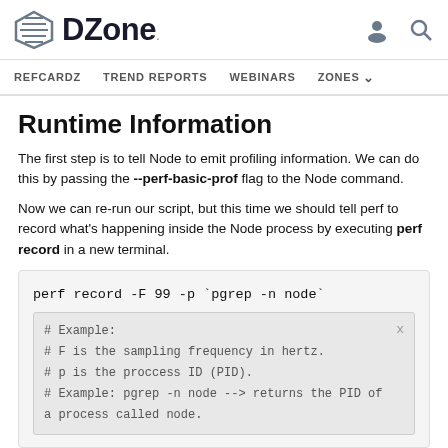DZone
Runtime Information
The first step is to tell Node to emit profiling information. We can do this by passing the --perf-basic-prof flag to the Node command.
Now we can re-run our script, but this time we should tell perf to record what's happening inside the Node process by executing perf record in a new terminal.
perf record -F 99 -p `pgrep -n node`

# Example:
# F is the sampling frequency in hertz.
# p is the proccess ID (PID).
# Example: pgrep -n node --> returns the PID of a process called node.
Running this command will generate a file called perf data in the same